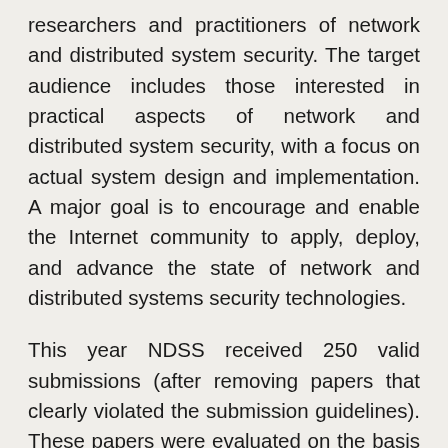researchers and practitioners of network and distributed system security. The target audience includes those interested in practical aspects of network and distributed system security, with a focus on actual system design and implementation. A major goal is to encourage and enable the Internet community to apply, deploy, and advance the state of network and distributed systems security technologies.
This year NDSS received 250 valid submissions (after removing papers that clearly violated the submission guidelines). These papers were evaluated on the basis of their significance, novelty, and technical quality. All these papers went through two rounds of reviews, evaluated by at least three members of the Program Committee (PC) with a few exceptions. The discussion among the PC members was first held online for a